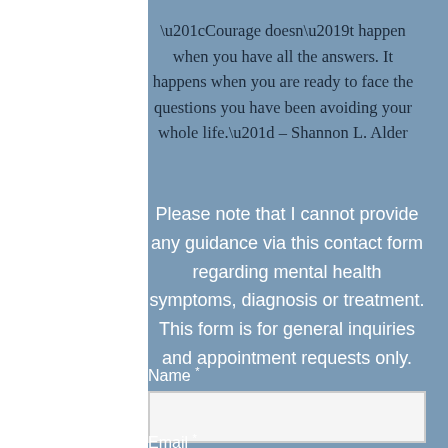“Courage doesn’t happen when you have all the answers. It happens when you are ready to face the questions you have been avoiding your whole life.” – Shannon L. Alder
Please note that I cannot provide any guidance via this contact form regarding mental health symptoms, diagnosis or treatment. This form is for general inquiries and appointment requests only.
Name *
Email *